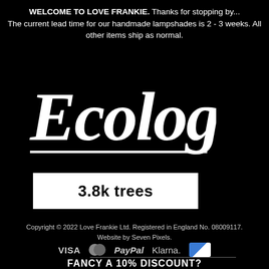WELCOME TO LOVE FRANKIE. Thanks for stopping by... The current lead time for our handmade lampshades is 2 - 3 weeks. All other items ship as normal.
[Figure (logo): Ecologi logo in large italic white script font with underline on black background]
3.8k trees
Copyright © 2022 Love Frankie Ltd. Registered in England No. 08009117. Website by Seven Pixels.
[Figure (logo): Payment method icons: VISA, Mastercard, PayPal, Klarna, and partially visible card]
FANCY A 10% DISCOUNT?